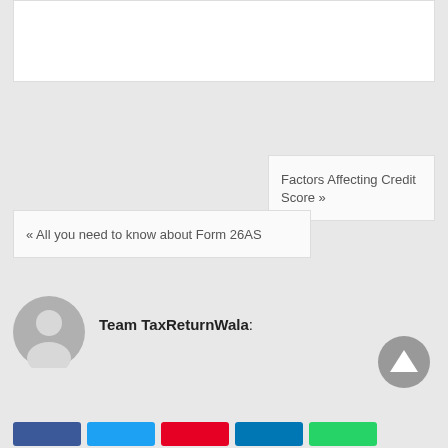[Figure (other): White card / article content area at top of page]
Factors Affecting Credit Score »
« All you need to know about Form 26AS
Team TaxReturnWala:
[Figure (illustration): Gray circular avatar / user silhouette icon]
[Figure (illustration): Gray upward triangle scroll-to-top button]
[Figure (illustration): Social share buttons row: blue (Facebook), light blue (Twitter), red (Pinterest), light blue (LinkedIn), green (WhatsApp)]